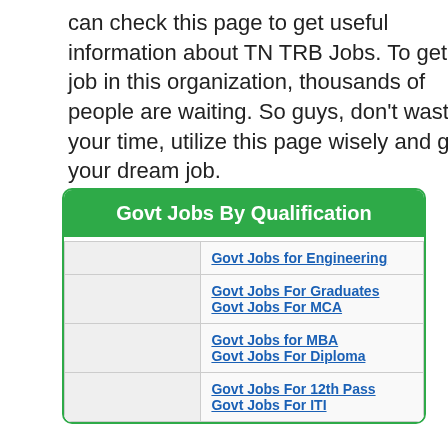can check this page to get useful information about TN TRB Jobs. To get a job in this organization, thousands of people are waiting. So guys, don't waste your time, utilize this page wisely and get your dream job.
|  | Govt Jobs By Qualification |
| --- | --- |
|  | Govt Jobs for Engineering |
|  | Govt Jobs For Graduates
Govt Jobs For MCA |
|  | Govt Jobs for MBA
Govt Jobs For Diploma |
|  | Govt Jobs For 12th Pass
Govt Jobs For ITI |